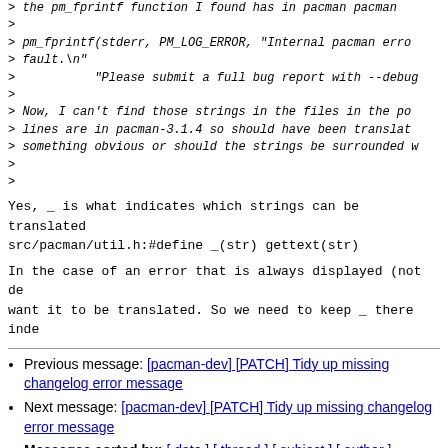> the pm_fprintf function I found has in pacman pacman
>
> pm_fprintf(stderr, PM_LOG_ERROR, "Internal pacman error
> fault.\n"
>           "Please submit a full bug report with --debug
>
> Now, I can't find those strings in the files in the po
> lines are in pacman-3.1.4 so should have been translated
> something obvious or should the strings be surrounded w
>
>
Yes, _ is what indicates which strings can be translated
src/pacman/util.h:#define _(str) gettext(str)
In the case of an error that is always displayed (not de
want it to be translated. So we need to keep _ there inde
Previous message: [pacman-dev] [PATCH] Tidy up missing changelog error message
Next message: [pacman-dev] [PATCH] Tidy up missing changelog error message
Messages sorted by: [ date ] [ thread ] [ subject ] [ author ]
More information about the pacman-dev mailing list